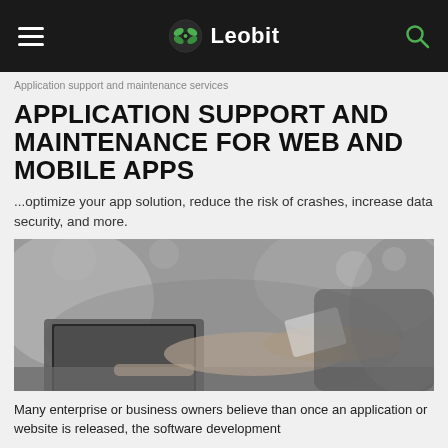Leobit
Application support and maintenance services
APPLICATION SUPPORT AND MAINTENANCE FOR WEB AND MOBILE APPS
...optimize your app solution, reduce the risk of crashes, increase data security, and more.
[Figure (photo): Black and white photo of a person working on a laptop while holding a tablet or card in an office setting.]
Many enterprise or business owners believe than once an application or website is released, the software development